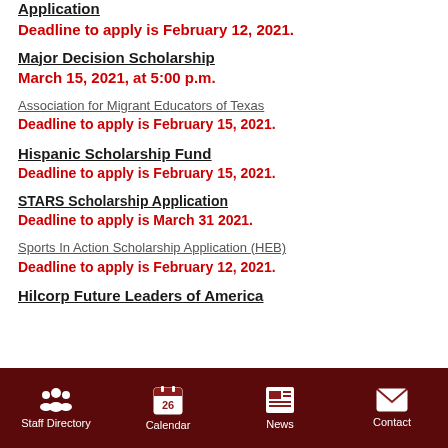Application
Deadline to apply is February 12, 2021.
Major Decision Scholarship
March 15, 2021, at 5:00 p.m.
Association for Migrant Educators of Texas
Deadline to apply is February 15, 2021.
Hispanic Scholarship Fund
Deadline to apply is February 15, 2021.
STARS Scholarship Application
Deadline to apply is March 31 2021.
Sports In Action Scholarship Application (HEB)
Deadline to apply is February 12, 2021.
Hilcorp Future Leaders of America
Staff Directory | Calendar | News | Contact